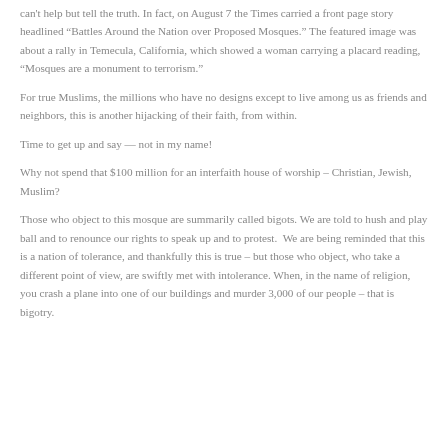can't help but tell the truth. In fact, on August 7 the Times carried a front page story headlined “Battles Around the Nation over Proposed Mosques.” The featured image was about a rally in Temecula, California, which showed a woman carrying a placard reading, “Mosques are a monument to terrorism.”
For true Muslims, the millions who have no designs except to live among us as friends and neighbors, this is another hijacking of their faith, from within.
Time to get up and say — not in my name!
Why not spend that $100 million for an interfaith house of worship – Christian, Jewish, Muslim?
Those who object to this mosque are summarily called bigots. We are told to hush and play ball and to renounce our rights to speak up and to protest.  We are being reminded that this is a nation of tolerance, and thankfully this is true – but those who object, who take a different point of view, are swiftly met with intolerance. When, in the name of religion, you crash a plane into one of our buildings and murder 3,000 of our people – that is bigotry.